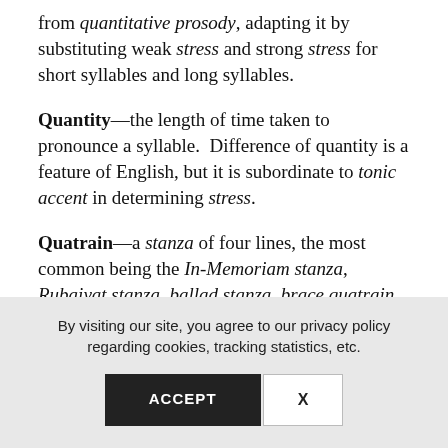from quantitative prosody, adapting it by substituting weak stress and strong stress for short syllables and long syllables.
Quantity—the length of time taken to pronounce a syllable. Difference of quantity is a feature of English, but it is subordinate to tonic accent in determining stress.
Quatrain—a stanza of four lines, the most common being the In-Memoriam stanza, Rubaiyat stanza, ballad stanza, brace quatrain, common
By visiting our site, you agree to our privacy policy regarding cookies, tracking statistics, etc.